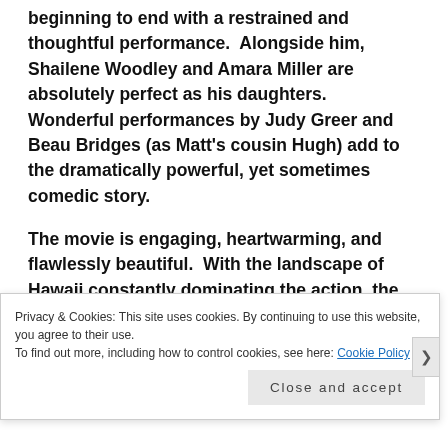beginning to end with a restrained and thoughtful performance.  Alongside him, Shailene Woodley and Amara Miller are absolutely perfect as his daughters.  Wonderful performances by Judy Greer and Beau Bridges (as Matt's cousin Hugh) add to the dramatically powerful, yet sometimes comedic story.
The movie is engaging, heartwarming, and flawlessly beautiful.  With the landscape of Hawaii constantly dominating the action, the eye is never disappointed.  In addition, the soundtrack of Hawaiian songs, befitting all of the moods of the story, is an absolutely perfect
Privacy & Cookies: This site uses cookies. By continuing to use this website, you agree to their use.
To find out more, including how to control cookies, see here: Cookie Policy